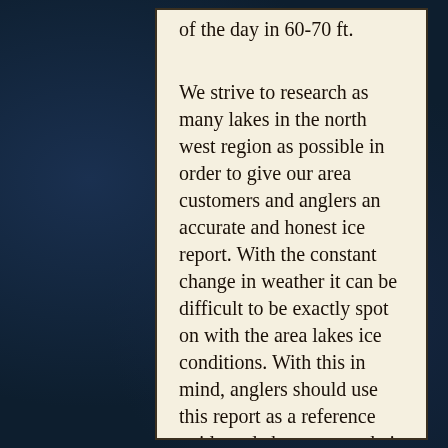of the day in 60-70 ft.
We strive to research as many lakes in the north west region as possible in order to give our area customers and anglers an accurate and honest ice report. With the constant change in weather it can be difficult to be exactly spot on with the area lakes ice conditions. With this in mind, anglers should use this report as a reference guide and chose to use their own judgment when venturing out on the ice. We will try to update the report twice a week to give